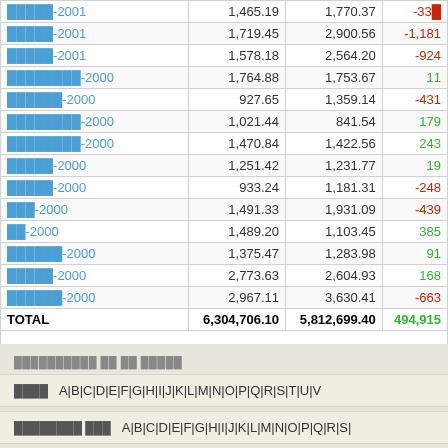|  | Col1 | Col2 | Diff |
| --- | --- | --- | --- |
| █████-2001 | 1,465.19 | 1,770.37 | -33█ |
| █████-2001 | 1,719.45 | 2,900.56 | -1,181 |
| █████-2001 | 1,578.18 | 2,564.20 | -924 |
| ████████-2000 | 1,764.88 | 1,753.67 | 11 |
| ██████-2000 | 927.65 | 1,359.14 | -431 |
| ████████-2000 | 1,021.44 | 841.54 | 179 |
| ████████-2000 | 1,470.84 | 1,422.56 | 243 |
| █████-2000 | 1,251.42 | 1,231.77 | 19 |
| █████-2000 | 933.24 | 1,181.31 | -248 |
| ███-2000 | 1,491.33 | 1,931.09 | -439 |
| ██-2000 | 1,489.20 | 1,103.45 | 385 |
| ██████-2000 | 1,375.47 | 1,283.98 | 91 |
| █████-2000 | 2,773.63 | 2,604.93 | 168 |
| ██████-2000 | 2,967.11 | 3,630.41 | -663 |
| TOTAL | 6,304,706.10 | 5,812,699.40 | 494,915 |
██████████ ██ ██ █████
████  A|B|C|D|E|F|G|H|I|J|K|L|M|N|O|P|Q|R|S|T|U|V
████████ ███  A|B|C|D|E|F|G|H|I|J|K|L|M|N|O|P|Q|R|S|